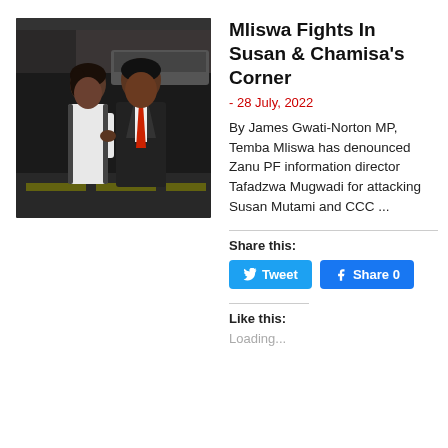[Figure (photo): Two people posing together indoors/at night: a woman in a white outfit on the left and a man in a dark suit with red tie on the right]
Mliswa Fights In Susan & Chamisa's Corner
- 28 July, 2022
By James Gwati-Norton MP, Temba Mliswa has denounced Zanu PF information director Tafadzwa Mugwadi for attacking Susan Mutami and CCC ...
Share this:
Like this:
Loading...